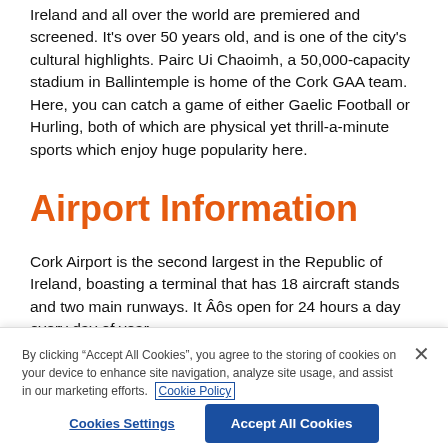Ireland and all over the world are premiered and screened. It's over 50 years old, and is one of the city's cultural highlights. Pairc Ui Chaoimh, a 50,000-capacity stadium in Ballintemple is home of the Cork GAA team. Here, you can catch a game of either Gaelic Football or Hurling, both of which are physical yet thrill-a-minute sports which enjoy huge popularity here.
Airport Information
Cork Airport is the second largest in the Republic of Ireland, boasting a terminal that has 18 aircraft stands and two main runways. It Âôs open for 24 hours a day every day of year.
By clicking "Accept All Cookies", you agree to the storing of cookies on your device to enhance site navigation, analyze site usage, and assist in our marketing efforts. Cookie Policy
Cookies Settings
Accept All Cookies